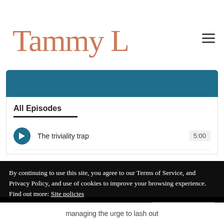[Figure (logo): Tammy Lenski cursive signature logo in terracotta/copper color]
[Figure (screenshot): Teal/blue podcast player bar with notch at bottom center]
All Episodes
The triviality trap
5:00
By continuing to use this site, you agree to our Terms of Service, and Privacy Policy, and use of cookies to improve your browsing experience. Find out more: Site policies
managing the urge to lash out